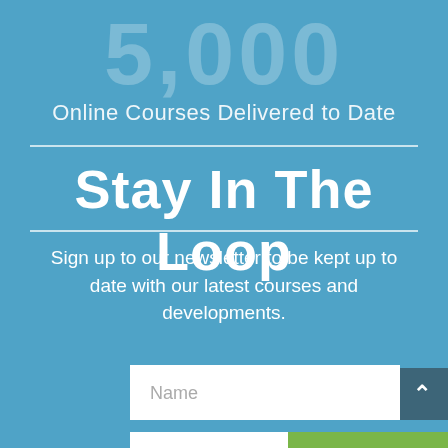5,000
Online Courses Delivered to Date
Stay In The Loop
Sign up to our newsletter to be kept up to date with our latest courses and developments.
[Figure (screenshot): Name input field (white rectangle with placeholder text 'Name')]
[Figure (screenshot): Email input field (white rectangle with placeholder text 'Email') and Chat with us now green button]